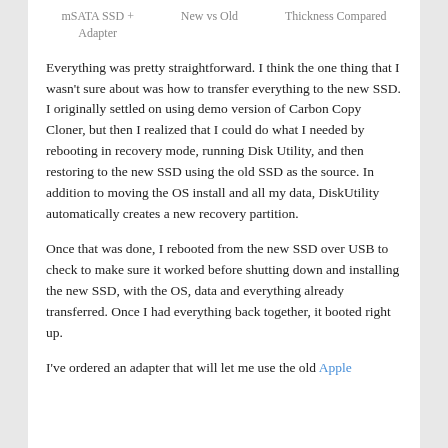mSATA SSD + Adapter    New vs Old    Thickness Compared
Everything was pretty straightforward. I think the one thing that I wasn't sure about was how to transfer everything to the new SSD. I originally settled on using demo version of Carbon Copy Cloner, but then I realized that I could do what I needed by rebooting in recovery mode, running Disk Utility, and then restoring to the new SSD using the old SSD as the source. In addition to moving the OS install and all my data, DiskUtility automatically creates a new recovery partition.
Once that was done, I rebooted from the new SSD over USB to check to make sure it worked before shutting down and installing the new SSD, with the OS, data and everything already transferred. Once I had everything back together, it booted right up.
I've ordered an adapter that will let me use the old Apple